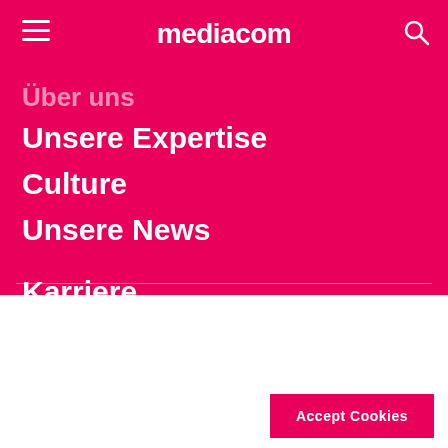mediacom
Über uns
Unsere Expertise
Culture
Unsere News
Karriere
Kontakt
This website uses cookies to enhance user experience and to analyze performance and traffic on our website. We also share information about your use of our site with our analytics partners.